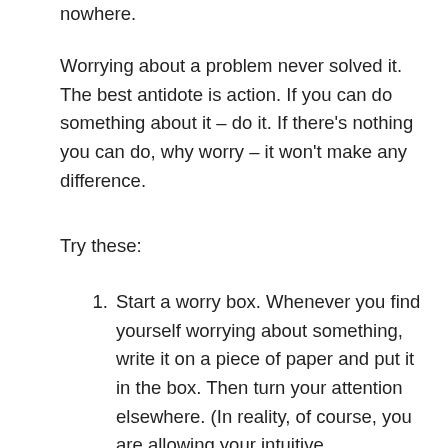nowhere.
Worrying about a problem never solved it. The best antidote is action. If you can do something about it – do it. If there's nothing you can do, why worry – it won't make any difference.
Try these:
Start a worry box. Whenever you find yourself worrying about something, write it on a piece of paper and put it in the box. Then turn your attention elsewhere. (In reality, of course, you are allowing your intuitive unconscious mind to sort it out for you.) On the last day of each month, open the box. You will find that most of your worries never came to anything, or were not as bad as you imagined, or you were